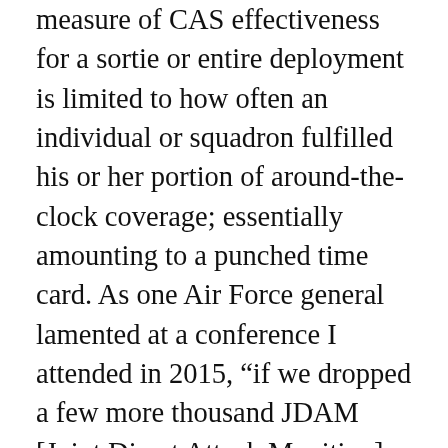measure of CAS effectiveness for a sortie or entire deployment is limited to how often an individual or squadron fulfilled his or her portion of around-the-clock coverage; essentially amounting to a punched time card. As one Air Force general lamented at a conference I attended in 2015, “if we dropped a few more thousand JDAM [Joint Direct Attack Munition] the war wouldn’t be any further along,” unintentionally inferring that if we dropped a few thousand less JDAM the war wouldn’t be any further behind. The Air Force should invest its time and money in improving CAS effectiveness, CAS efficiency